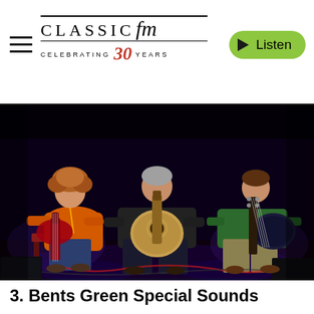Classic FM — Celebrating 30 Years | Listen
[Figure (photo): Three musicians seated on stage in a dark venue. Left: young man with curly hair in orange shirt playing red electric guitar. Center: older man in black t-shirt playing an acoustic/electric guitar. Right: man in green hoodie playing bass guitar. Stage lighting in blue/purple tones.]
3. Bents Green Special Sounds